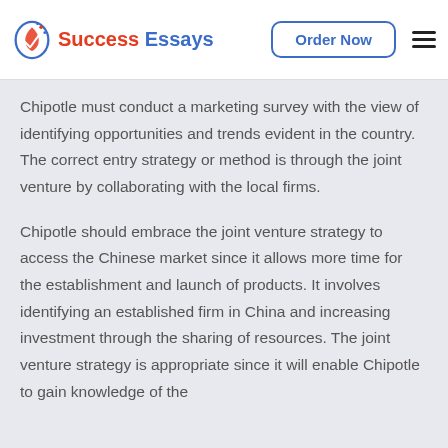Success Essays | Order Now
Chipotle must conduct a marketing survey with the view of identifying opportunities and trends evident in the country. The correct entry strategy or method is through the joint venture by collaborating with the local firms.
Chipotle should embrace the joint venture strategy to access the Chinese market since it allows more time for the establishment and launch of products. It involves identifying an established firm in China and increasing investment through the sharing of resources. The joint venture strategy is appropriate since it will enable Chipotle to gain knowledge of the